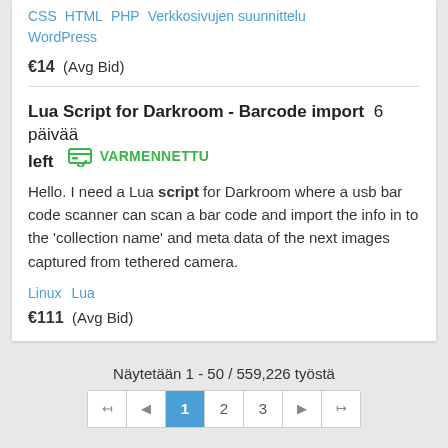CSS   HTML   PHP   Verkkosivujen suunnittelu   WordPress
€14  (Avg Bid)
Lua Script for Darkroom - Barcode import  6 päivää left   VARMENNETTU
Hello. I need a Lua script for Darkroom where a usb bar code scanner can scan a bar code and import the info in to the 'collection name' and meta data of the next images captured from tethered camera.
Linux   Lua
€111  (Avg Bid)
Näytetään 1 - 50 / 559,226 työstä
Pagination: |◄  ◄  1  2  3  ►  ►|